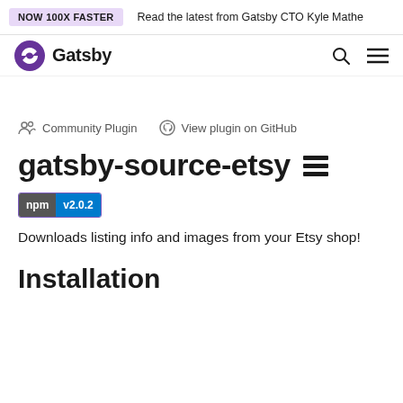NOW 100X FASTER   Read the latest from Gatsby CTO Kyle Mathe
[Figure (logo): Gatsby logo with purple swirl icon and 'Gatsby' wordmark, plus search and hamburger menu icons on the right]
Community Plugin   View plugin on GitHub
gatsby-source-etsy
npm v2.0.2
Downloads listing info and images from your Etsy shop!
Installation